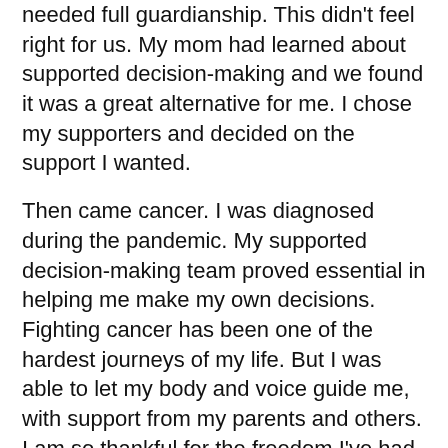needed full guardianship. This didn't feel right for us. My mom had learned about supported decision-making and we found it was a great alternative for me. I chose my supporters and decided on the support I wanted.
Then came cancer. I was diagnosed during the pandemic. My supported decision-making team proved essential in helping me make my own decisions. Fighting cancer has been one of the hardest journeys of my life. But I was able to let my body and voice guide me, with support from my parents and others. I am so thankful for the freedom I've had to choose my treatments.
COVID-19-related visitor restrictions made supported decision-making harder. We had to advocate with the hospital to have my supporters with me at appointments. A law would make it easier for people to have supporters with them anywhere they need them.
Guardianship would have been worse than death to me because I would have lost my choice. I fully trust my team, but I want to make choices for my own life, and this law would protect that process.